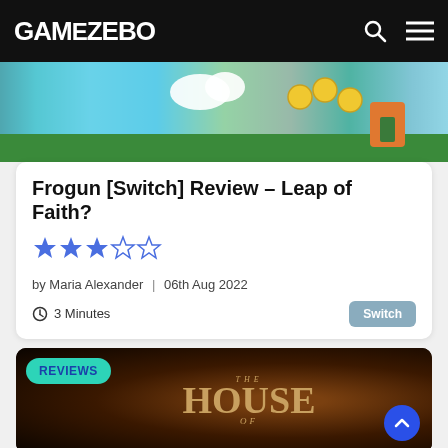GAMEZEBO
[Figure (screenshot): Colorful game screenshot showing cartoon characters and coins on a teal/blue background]
Frogun [Switch] Review – Leap of Faith?
[Figure (infographic): 3 out of 5 stars rating in blue]
by Maria Alexander | 06th Aug 2022
3 Minutes
Switch
[Figure (screenshot): Dark gothic house interior with 'THE HOUSE OF' text overlay and REVIEWS badge]